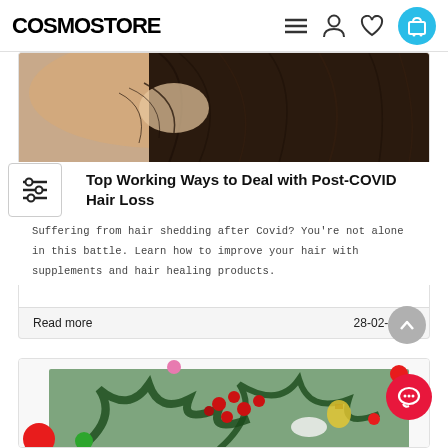COSMOSTORE
[Figure (photo): Close-up photo of a person's scalp and dark hair, suggesting hair loss or thinning]
Top Working Ways to Deal with Post-COVID Hair Loss
Suffering from hair shedding after Covid? You're not alone in this battle. Learn how to improve your hair with supplements and hair healing products.
Read more
28-02-2022
[Figure (photo): Partial view of a Christmas arrangement with pine branches, red berries, and holiday decorations including red and green circles]